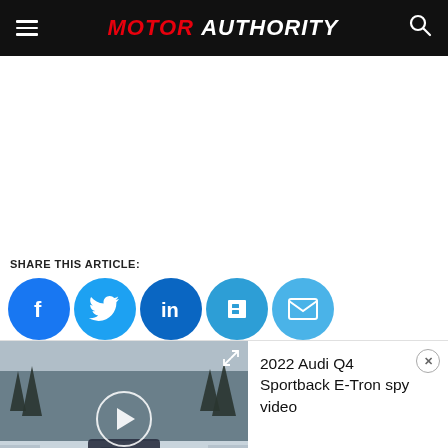MOTOR AUTHORITY
SHARE THIS ARTICLE:
[Figure (screenshot): Social share buttons: Facebook, Twitter, LinkedIn, Flipboard, Email]
[Figure (screenshot): Video thumbnail showing 2022 Audi Q4 Sportback E-Tron spy video with play button overlaid on snowy winter road scene]
2022 Audi Q4 Sportback E-Tron spy video